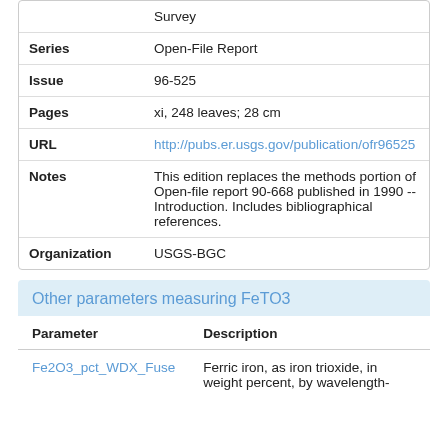| Field | Value |
| --- | --- |
|  | Survey |
| Series | Open-File Report |
| Issue | 96-525 |
| Pages | xi, 248 leaves; 28 cm |
| URL | http://pubs.er.usgs.gov/publication/ofr96525 |
| Notes | This edition replaces the methods portion of Open-file report 90-668 published in 1990 -- Introduction. Includes bibliographical references. |
| Organization | USGS-BGC |
Other parameters measuring FeTO3
| Parameter | Description |
| --- | --- |
| Fe2O3_pct_WDX_Fuse | Ferric iron, as iron trioxide, in weight percent, by wavelength- |